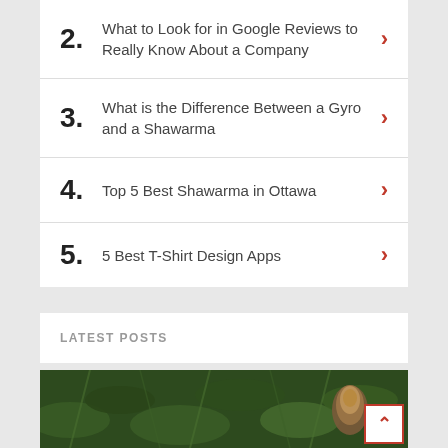2. What to Look for in Google Reviews to Really Know About a Company
3. What is the Difference Between a Gyro and a Shawarma
4. Top 5 Best Shawarma in Ottawa
5. 5 Best T-Shirt Design Apps
LATEST POSTS
[Figure (photo): A dark green plant/herb background with what appears to be a metallic object, partially visible at bottom of page]